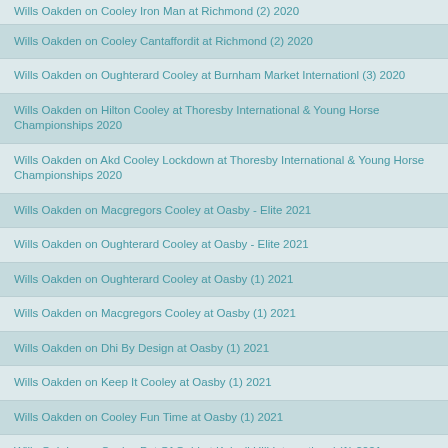Wills Oakden on Cooley Iron Man at Richmond (2) 2020
Wills Oakden on Cooley Cantaffordit at Richmond (2) 2020
Wills Oakden on Oughterard Cooley at Burnham Market Internationl (3) 2020
Wills Oakden on Hilton Cooley at Thoresby International & Young Horse Championships 2020
Wills Oakden on Akd Cooley Lockdown at Thoresby International & Young Horse Championships 2020
Wills Oakden on Macgregors Cooley at Oasby - Elite 2021
Wills Oakden on Oughterard Cooley at Oasby - Elite 2021
Wills Oakden on Oughterard Cooley at Oasby (1) 2021
Wills Oakden on Macgregors Cooley at Oasby (1) 2021
Wills Oakden on Dhi By Design at Oasby (1) 2021
Wills Oakden on Keep It Cooley at Oasby (1) 2021
Wills Oakden on Cooley Fun Time at Oasby (1) 2021
Wills Oakden on Cooley Pot Of Gold at Kelsall Hill International (1) 2021
Wills Oakden on Cooley Amigo at Kelsall Hill International (1) 2021